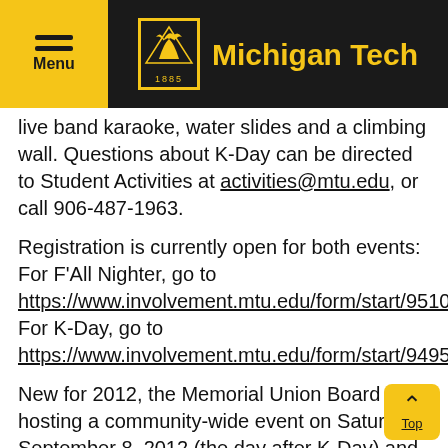Michigan Tech
live band karaoke, water slides and a climbing wall. Questions about K-Day can be directed to Student Activities at activities@mtu.edu, or call 906-487-1963.
Registration is currently open for both events: For F'All Nighter, go to https://www.involvement.mtu.edu/form/start/9510. For K-Day, go to https://www.involvement.mtu.edu/form/start/9495.
New for 2012, the Memorial Union Board is hosting a community-wide event on Saturday, September 8, 2012 (the day after K-Day) and is asking you to “save the date.”  They are inviting student organizations to set up their booths from 3:00 – 8:00 pm at the Chutes